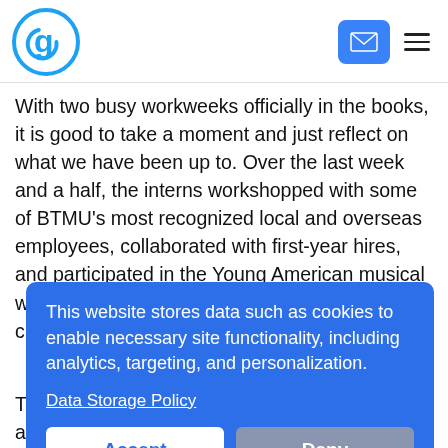Glassdoor logo, email button, hamburger menu
With two busy workweeks officially in the books, it is good to take a moment and just reflect on what we have been up to. Over the last week and a half, the interns workshopped with some of BTMU’s most recognized local and overseas employees, collaborated with first-year hires, and participated in the Young American musical which was performed in front of a 300+ member crowd. Yeah, there
nd local sident Award pan to accept ticipated in a still MUFG’s al network.
[Figure (screenshot): Cookie consent overlay with blue background. Text: 'This website stores data such as cookies to enable necessary site functionality, including analytics, targeting, and personalization.' Link: 'Data Storage Policy'. Two buttons: 'Accept' (white with blue text) and 'Deny' (gray with white text).]
The six interns were lucky enough to participate and work